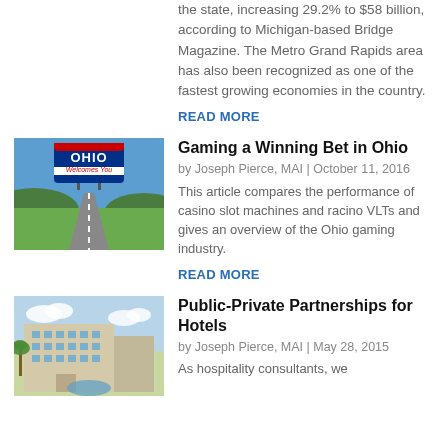the state, increasing 29.2% to $58 billion, according to Michigan-based Bridge Magazine. The Metro Grand Rapids area has also been recognized as one of the fastest growing economies in the country.
READ MORE
[Figure (photo): Ohio Welcomes You highway sign with road and fields]
Gaming a Winning Bet in Ohio
by Joseph Pierce, MAI | October 11, 2016
This article compares the performance of casino slot machines and racino VLTs and gives an overview of the Ohio gaming industry.
READ MORE
[Figure (photo): Hotel building with palm trees and outdoor area]
Public-Private Partnerships for Hotels
by Joseph Pierce, MAI | May 28, 2015
As hospitality consultants, we